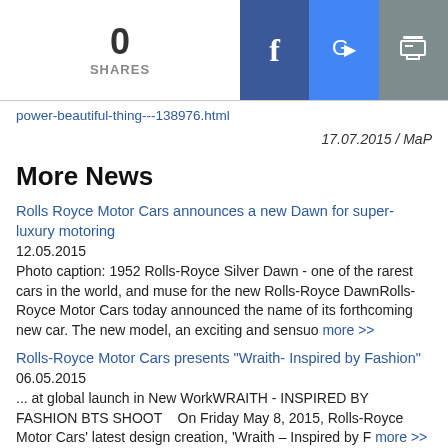0 SHARES | Facebook | Google Translate | Print
power-beautiful-thing---138976.html
17.07.2015 / MaP
More News
Rolls Royce Motor Cars announces a new Dawn for super-luxury motoring
12.05.2015
Photo caption: 1952 Rolls-Royce Silver Dawn - one of the rarest cars in the world, and muse for the new Rolls-Royce DawnRolls-Royce Motor Cars today announced the name of its forthcoming new car. The new model, an exciting and sensuo more >>
Rolls-Royce Motor Cars presents "Wraith- Inspired by Fashion"
06.05.2015
... at global launch in New WorkWRAITH - INSPIRED BY FASHION BTS SHOOT   On Friday May 8, 2015, Rolls-Royce Motor Cars' latest design creation, 'Wraith – Inspired by F more >>
Rolls Royce London at London Craft Week
05.05.2015
Rolls-Royce London to showcase extraordinary design and